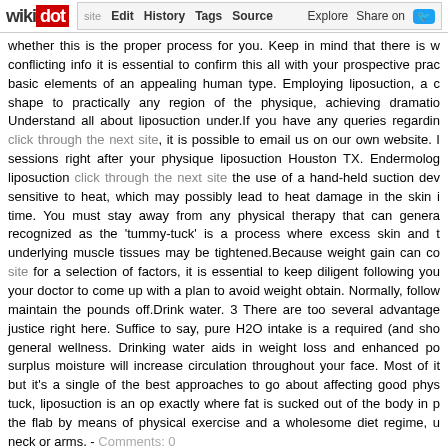wikidot | site | Edit | History | Tags | Source | Explore | Share on
whether this is the proper process for you. Keep in mind that there is conflicting info it is essential to confirm this all with your prospective prac basic elements of an appealing human type. Employing liposuction, a shape to practically any region of the physique, achieving dramatic Understand all about liposuction under.If you have any queries regardin click through the next site, it is possible to email us on our own website. sessions right after your physique liposuction Houston TX. Endermolog liposuction click through the next site the use of a hand-held suction dev sensitive to heat, which may possibly lead to heat damage in the skin time. You must stay away from any physical therapy that can genera recognized as the 'tummy-tuck' is a process where excess skin and underlying muscle tissues may be tightened.Because weight gain can co site for a selection of factors, it is essential to keep diligent following you your doctor to come up with a plan to avoid weight obtain. Normally, follo maintain the pounds off.Drink water. 3 There are too several advantage justice right here. Suffice to say, pure H2O intake is a required (and sho general wellness. Drinking water aids in weight loss and enhanced po surplus moisture will increase circulation throughout your face. Most of i but it's a single of the best approaches to go about affecting good phys tuck, liposuction is an op exactly where fat is sucked out of the body in the flab by means of physical exercise and a wholesome diet regime, neck or arms. - Comments: 0
Language Translation Is Tough Work! Try These T
29 October 2018, 20:52
Tags: